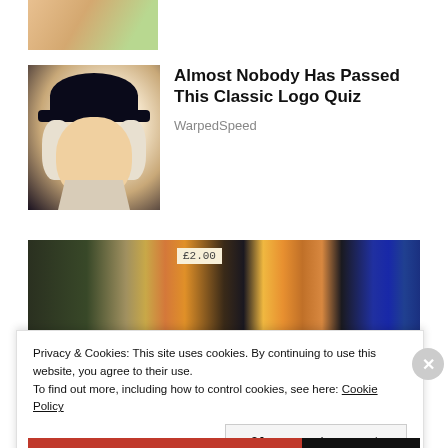[Figure (photo): Partial view of a hand against a green background, cropped at top of page]
[Figure (photo): Quaker Oats man mascot illustration - man in colonial hat with white wig]
Almost Nobody Has Passed This Classic Logo Quiz
WarpedSpeed
[Figure (photo): Grocery store aisle with bright bokeh lights and product shelves, price tag visible]
Privacy & Cookies: This site uses cookies. By continuing to use this website, you agree to their use.
To find out more, including how to control cookies, see here: Cookie Policy
Close and accept